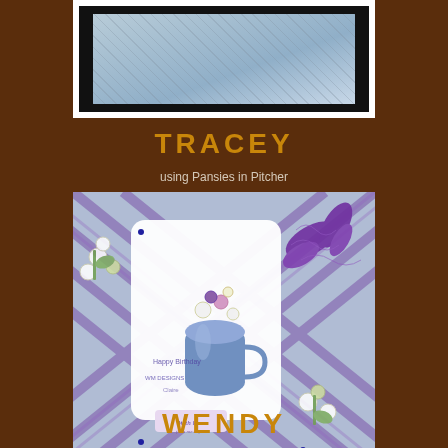[Figure (photo): Partial view of a craft card at top of page, showing decorative elements on dark background]
TRACEY
using Pansies in Pitcher
[Figure (photo): Handmade greeting card featuring a blue pitcher with pansies and white flowers, purple plaid background, purple lace bow in upper right, floral decorations on corners, 'With love' tag at bottom, displayed on light blue background]
WENDY